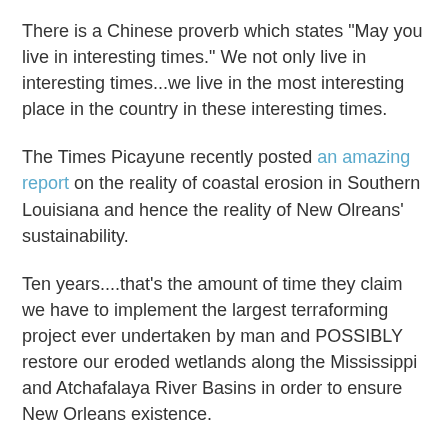There is a Chinese proverb which states "May you live in interesting times." We not only live in interesting times...we live in the most interesting place in the country in these interesting times.
The Times Picayune recently posted an amazing report on the reality of coastal erosion in Southern Louisiana and hence the reality of New Olreans' sustainability.
Ten years....that's the amount of time they claim we have to implement the largest terraforming project ever undertaken by man and POSSIBLY restore our eroded wetlands along the Mississippi and Atchafalaya River Basins in order to ensure New Orleans existence.
I, for one, am not optimistic. I believe this city has about 60 to 100 years left...if we're lucky...and that's the part of the city that's above sea level or the "sliver by the river". I believe we will get hit by another storm...the levees will break and the city will flood again....I think it's inevitable. Eventually, New Orleanians will have to face the reality that we can't hold back the sea and think the city will some how escape no matter